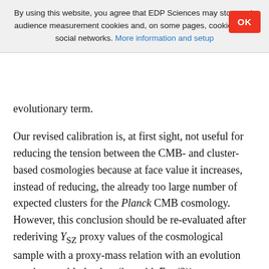By using this website, you agree that EDP Sciences may store web audience measurement cookies and, on some pages, cookies from social networks. More information and setup
evolutionary term.
Our revised calibration is, at first sight, not useful for reducing the tension between the CMB- and cluster-based cosmologies because at face value it increases, instead of reducing, the already too large number of expected clusters for the Planck CMB cosmology. However, this conclusion should be re-evaluated after rederiving Y_SZ proxy values of the cosmological sample with a proxy-mass relation with an evolution consistent with the data (i.e. with Eq. (2)).
The bottom line is that the non-self-similar evolution of the SZ...